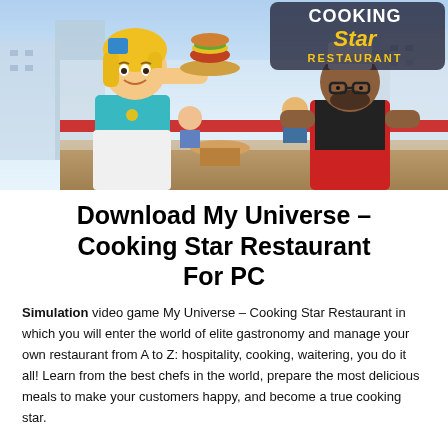[Figure (illustration): Promotional game art for 'My Universe – Cooking Star Restaurant' featuring a blonde waitress holding a tray with a burger, a male chef in a red apron, restaurant customers in the background, and the Cooking Star Restaurant logo in the top right corner.]
Download My Universe – Cooking Star Restaurant For PC
Simulation video game My Universe – Cooking Star Restaurant in which you will enter the world of elite gastronomy and manage your own restaurant from A to Z: hospitality, cooking, waitering, you do it all! Learn from the best chefs in the world, prepare the most delicious meals to make your customers happy, and become a true cooking star.